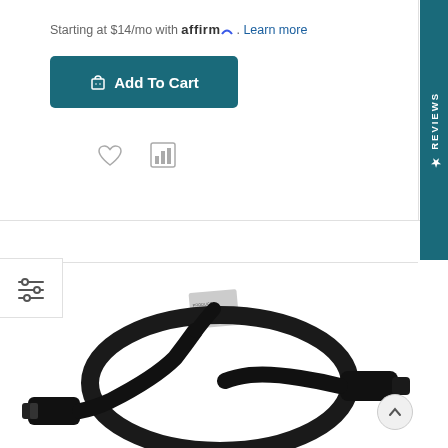Starting at $14/mo with affirm. Learn more
Add To Cart
[Figure (screenshot): E-commerce product page showing Affirm payment option, Add To Cart button, wishlist and compare icons, Reviews sidebar tab, filter icon, and a black cable/wire harness product image]
★ REVIEWS